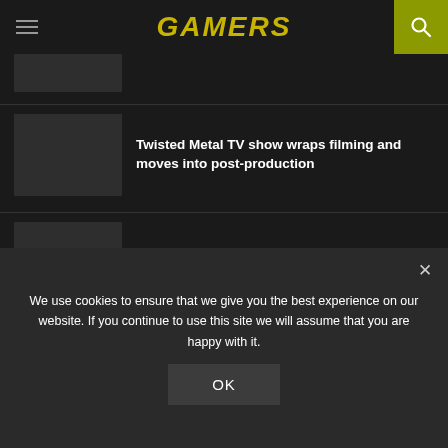GAMERS
[Figure (other): Partially visible article thumbnail image (cropped)]
[Figure (other): Article thumbnail image placeholder]
Twisted Metal TV show wraps filming and moves into post-production
[Figure (other): Article thumbnail image placeholder]
Sonic Frontiers' file size is almost twice as big as Sonic Forces on Switch
We use cookies to ensure that we give you the best experience on our website. If you continue to use this site we will assume that you are happy with it.